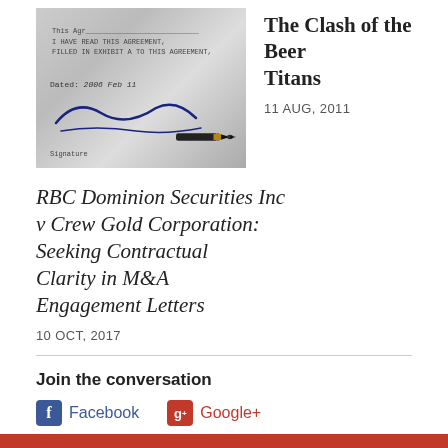[Figure (photo): Photo of a contract being signed with a pen, showing signature line and date 2006 Feb 11]
The Clash of the Beer Titans
11 AUG, 2011
RBC Dominion Securities Inc v Crew Gold Corporation: Seeking Contractual Clarity in M&A Engagement Letters
10 OCT, 2017
Join the conversation
Facebook
Google+